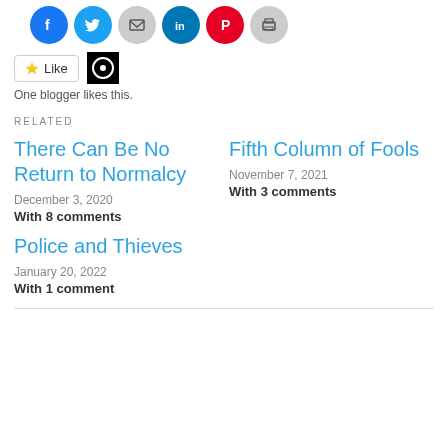[Figure (infographic): Row of social sharing icon buttons: Facebook (blue), Twitter (blue), Email (gray), LinkedIn (blue), Pinterest (red), Print (gray)]
[Figure (infographic): Like button widget with star icon and a small black avatar thumbnail]
One blogger likes this.
RELATED
There Can Be No Return to Normalcy
December 3, 2020
With 8 comments
Fifth Column of Fools
November 7, 2021
With 3 comments
Police and Thieves
January 20, 2022
With 1 comment